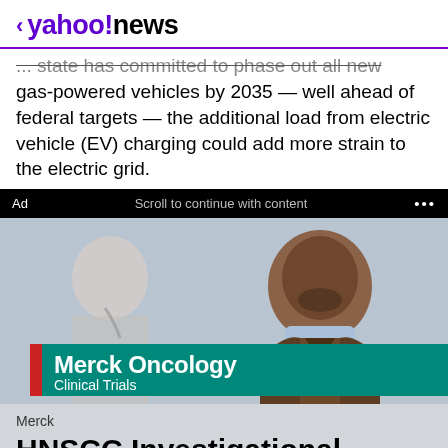< yahoo!news
... state has committed to phase out all new gas-powered vehicles by 2035 — well ahead of federal targets — the additional load from electric vehicle (EV) charging could add more strain to the electric grid.
Ad   Scroll to continue with content   ...
[Figure (photo): Merck Oncology Clinical Trials advertisement image showing a middle-aged Black man in a brown jacket and light blue shirt, with a blurred female doctor in background. Foreground shows 'Merck Oncology Clinical Trials' logo on teal/green background with red accent bar.]
Merck
HNSCC Investigational Therapy vs.